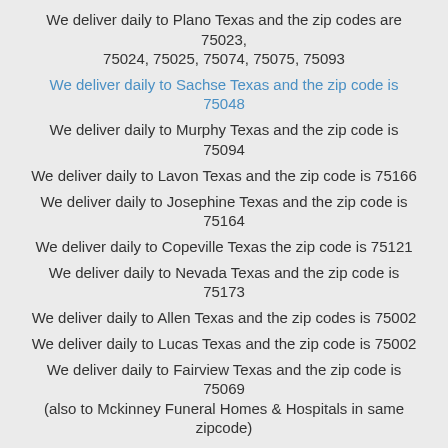We deliver daily to Plano Texas and the zip codes are 75023, 75024, 75025, 75074, 75075, 75093
We deliver daily to Sachse Texas and the zip code is 75048
We deliver daily to Murphy Texas and the zip code is 75094
We deliver daily to Lavon Texas and the zip code is 75166
We deliver daily to Josephine Texas and the zip code is 75164
We deliver daily to Copeville Texas the zip code is 75121
We deliver daily to Nevada Texas and the zip code is 75173
We deliver daily to Allen Texas and the zip codes is 75002
We deliver daily to Lucas Texas and the zip code is 75002
We deliver daily to Fairview Texas and the zip code is 75069 (also to Mckinney Funeral Homes & Hospitals in same zipcode)